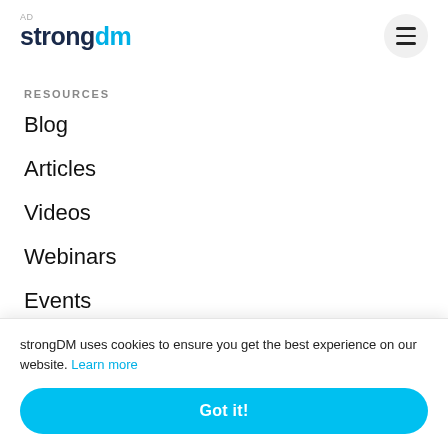strong dm (logo) — AD label
RESOURCES
Blog
Articles
Videos
Webinars
Events
Poc (Podcasts, partially hidden)
Co (Community, partially hidden)
strongDM uses cookies to ensure you get the best experience on our website. Learn more
Got it!